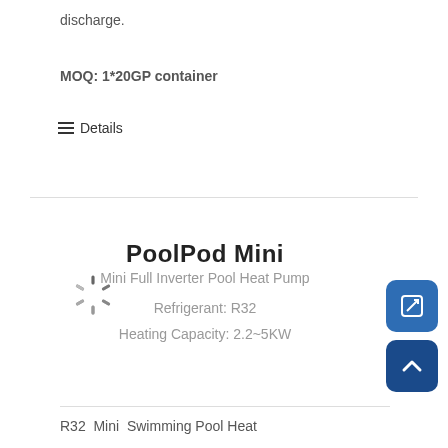discharge.
MOQ: 1*20GP container
≡ Details
PoolPod Mini
Mini Full Inverter Pool Heat Pump
Refrigerant: R32
Heating Capacity: 2.2~5KW
R32  Mini  Swimming Pool Heat